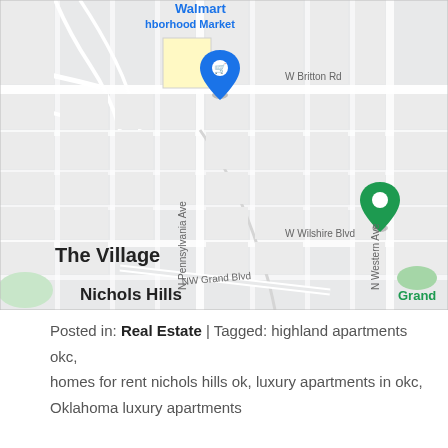[Figure (map): Google Maps screenshot showing neighborhoods in Oklahoma City including The Village, Nichols Hills, Britton area. Shows streets including W Britton Rd, N Pennsylvania Ave, W Wilshire Blvd, NW Grand Blvd, N Western Ave. Points of interest include Walmart Neighborhood Market (blue pin), Wilshire Gun (green pin), Flix Ok, McD, Ame Assura, Orthe, Metro G labels visible at edges.]
Posted in: Real Estate | Tagged: highland apartments okc, homes for rent nichols hills ok, luxury apartments in okc, Oklahoma luxury apartments